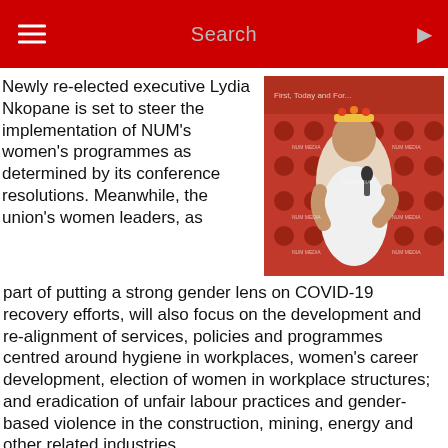Search
Newly re-elected executive Lydia Nkopane is set to steer the implementation of NUM's women's programmes as determined by its conference resolutions. Meanwhile, the union's women leaders, as part of putting a strong gender lens on COVID-19 recovery efforts, will also focus on the development and re-alignment of services, policies and programmes centred around hygiene in workplaces, women's career development, election of women in workplace structures; and eradication of unfair labour practices and gender-based violence in the construction, mining, energy and other related industries.
[Figure (photo): Woman in white shirt speaking at a podium with microphone, in front of a red branded backdrop with NUM Media logos]
BWI Africa and Middle East Regional Women's Committee Chair, Emma Maersk, expressed her solidarity as NUM Media...